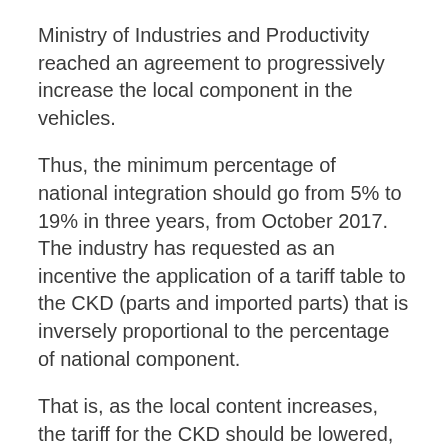Ministry of Industries and Productivity reached an agreement to progressively increase the local component in the vehicles.
Thus, the minimum percentage of national integration should go from 5% to 19% in three years, from October 2017. The industry has requested as an incentive the application of a tariff table to the CKD (parts and imported parts) that is inversely proportional to the percentage of national component.
That is, as the local content increases, the tariff for the CKD should be lowered, which is 15%. But the discussion is “stuck” in the Committee on Foreign Trade (Comex), Molina explained. In addition, as stipulated in the Public Finance Code, as it is a fiscal discount on vehicles, it must be “coined”